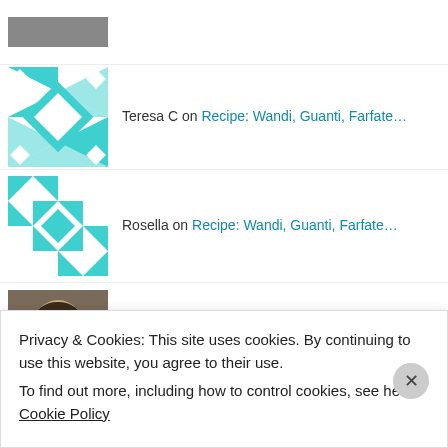Teresa C on Recipe: Wandi, Guanti, Farfate…
Rosella on Recipe: Wandi, Guanti, Farfate…
Suzanne Russo on Recipe: Wandi, Guanti, Farfate…
Rosella on Recipe: Wandi, Guanti, Farfate…
Advertisements
Privacy & Cookies: This site uses cookies. By continuing to use this website, you agree to their use. To find out more, including how to control cookies, see here: Cookie Policy
Close and accept